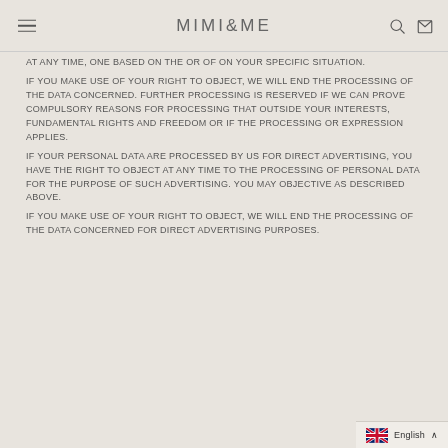MIMI&ME
AT ANY TIME, ONE BASED ON THE OR OF ON YOUR SPECIFIC SITUATION. IF YOU MAKE USE OF YOUR RIGHT TO OBJECT, WE WILL END THE PROCESSING OF THE DATA CONCERNED. FURTHER PROCESSING IS RESERVED IF WE CAN PROVE COMPULSORY REASONS FOR PROCESSING THAT OUTSIDE YOUR INTERESTS, FUNDAMENTAL RIGHTS AND FREEDOM OR IF THE PROCESSING OR EXPRESSION APPLIES. IF YOUR PERSONAL DATA ARE PROCESSED BY US FOR DIRECT ADVERTISING, YOU HAVE THE RIGHT TO OBJECT AT ANY TIME TO THE PROCESSING OF PERSONAL DATA FOR THE PURPOSE OF SUCH ADVERTISING. YOU MAY OBJECTIVE AS DESCRIBED ABOVE. IF YOU MAKE USE OF YOUR RIGHT TO OBJECT, WE WILL END THE PROCESSING OF THE DATA CONCERNED FOR DIRECT ADVERTISING PURPOSES.
English